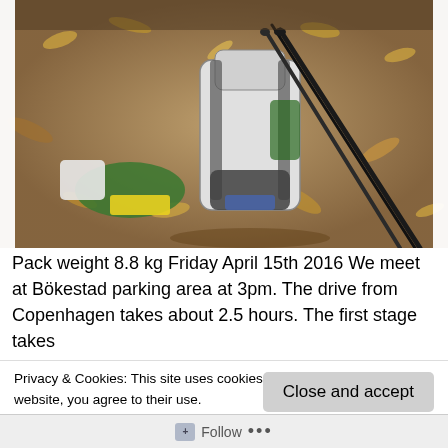[Figure (photo): A backpack and hiking/trekking poles leaning against it, along with a green item, yellow mat, and various gear scattered on a forest floor covered in autumn leaves and dry dirt.]
Pack weight 8.8 kg Friday April 15th 2016 We meet at Bökestad parking area at 3pm. The drive from Copenhagen takes about 2.5 hours. The first stage takes
Privacy & Cookies: This site uses cookies. By continuing to use this website, you agree to their use.
To find out more, including how to control cookies, see here: Cookie Policy
Close and accept
Follow ...